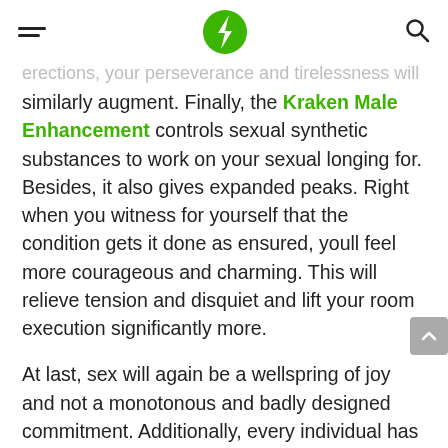[hamburger menu] [green lightning bolt logo] [search icon]
erections, your perseverance and tirelessness will similarly augment. Finally, the Kraken Male Enhancement controls sexual synthetic substances to work on your sexual longing for. Besides, it also gives expanded peaks. Right when you witness for yourself that the condition gets it done as ensured, youll feel more courageous and charming. This will relieve tension and disquiet and lift your room execution significantly more.
At last, sex will again be a wellspring of joy and not a monotonous and badly designed commitment. Additionally, every individual has the privilege to participate in their sexual conjunction, paying little mind to energetic or old.